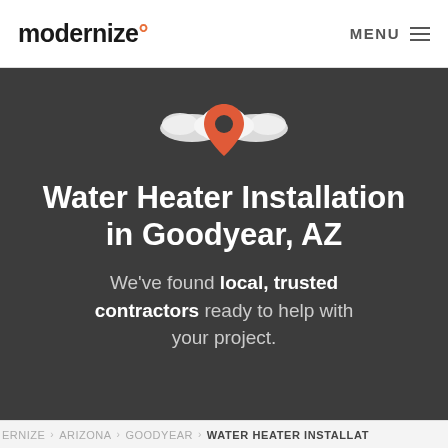modernize  MENU
[Figure (illustration): Location pin icon with decorative cloud/wing shapes on a dark background. The pin is orange/red with white wings/clouds on each side.]
Water Heater Installation in Goodyear, AZ
We've found local, trusted contractors ready to help with your project.
ERNIZE > ARIZONA > GOODYEAR > WATER HEATER INSTALLAT